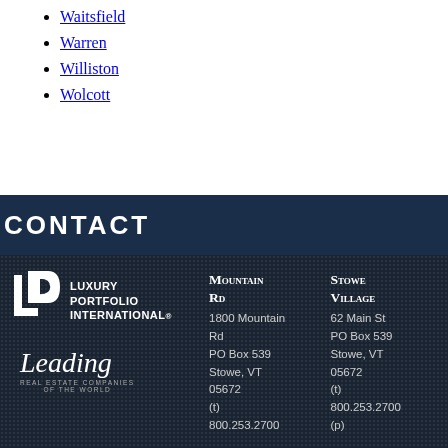Waitsfield
Warren
Williston
Wolcott
CONTACT
[Figure (logo): Luxury Portfolio International logo with LPI monogram icon]
[Figure (logo): Leading Real Estate Companies of the World script logo]
Mountain Rd
1800 Mountain Rd
PO Box 539
Stowe, VT 05672
(t)
800.253.2700
Stowe Village
62 Main St
PO Box 539
Stowe, VT 05672
(t)
800.253.2700
(p)